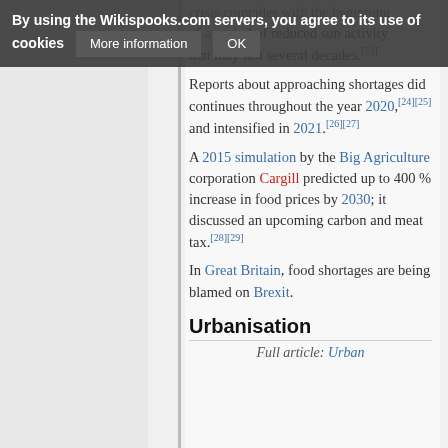By using the Wikispooks.com servers, you agree to its use of cookies  More information  OK
crisis coincides with the beginning of a period of reduced sun activity that may last several decades.[23]
Reports about approaching shortages did continues throughout the year 2020,[24][25] and intensified in 2021.[26][27]
A 2015 simulation by the Big Agriculture corporation Cargill predicted up to 400 % increase in food prices by 2030; it discussed an upcoming carbon and meat tax.[28][29]
In Great Britain, food shortages are being blamed on Brexit.
Urbanisation
Full article: Urban